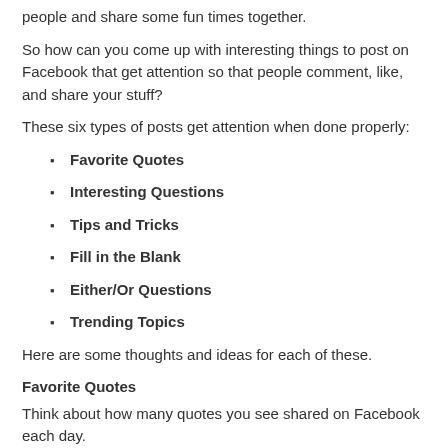people and share some fun times together.
So how can you come up with interesting things to post on Facebook that get attention so that people comment, like, and share your stuff?
These six types of posts get attention when done properly:
Favorite Quotes
Interesting Questions
Tips and Tricks
Fill in the Blank
Either/Or Questions
Trending Topics
Here are some thoughts and ideas for each of these.
Favorite Quotes
Think about how many quotes you see shared on Facebook each day.